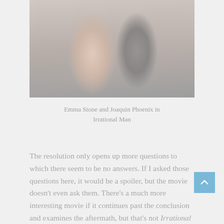[Figure (photo): A woman and a man standing together and looking at each other, likely Emma Stone and Joaquin Phoenix from the film Irrational Man. The image is faded/desaturated in light gray tones.]
Emma Stone and Joaquin Phoenix in Irrational Man
The resolution only opens up more questions to which there seem to be no answers. If I asked those questions here, it would be a spoiler, but the movie doesn't even ask them. There's a much more interesting movie if it continues past the conclusion and examines the aftermath, but that's not Irrational